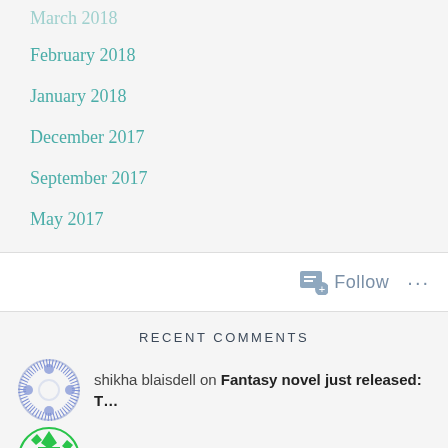March 2018
February 2018
January 2018
December 2017
September 2017
May 2017
[Figure (other): WordPress Follow bar with follow icon and ellipsis menu]
RECENT COMMENTS
shikha blaisdell on Fantasy novel just released: T…
Anne on TV Series Review: The Expanse…